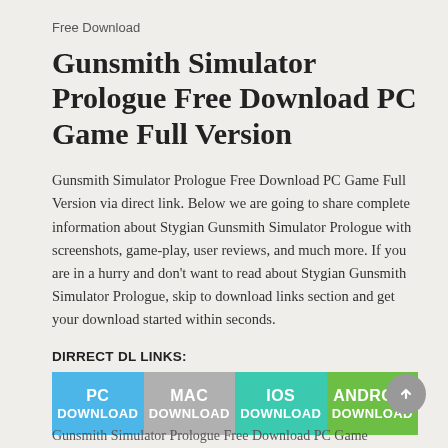Free Download
Gunsmith Simulator Prologue Free Download PC Game Full Version
Gunsmith Simulator Prologue Free Download PC Game Full Version via direct link. Below we are going to share complete information about Stygian Gunsmith Simulator Prologue with screenshots, game-play, user reviews, and much more. If you are in a hurry and don't want to read about Stygian Gunsmith Simulator Prologue, skip to download links section and get your download started within seconds.
DIRRECT DL LINKS:
[Figure (infographic): Four download buttons: PC DOWNLOAD (blue), MAC DOWNLOAD (gray), IOS DOWNLOAD (teal), ANDROID DOWNLOAD (green)]
[ Direct download link (PC) ]
Gunsmith Simulator Prologue Free Download PC Game